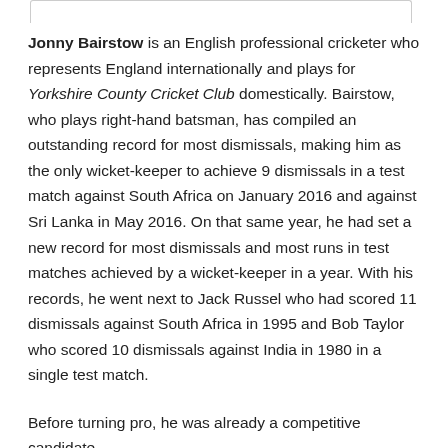Jonny Bairstow is an English professional cricketer who represents England internationally and plays for Yorkshire County Cricket Club domestically. Bairstow, who plays right-hand batsman, has compiled an outstanding record for most dismissals, making him as the only wicket-keeper to achieve 9 dismissals in a test match against South Africa on January 2016 and against Sri Lanka in May 2016. On that same year, he had set a new record for most dismissals and most runs in test matches achieved by a wicket-keeper in a year. With his records, he went next to Jack Russel who had scored 11 dismissals against South Africa in 1995 and Bob Taylor who scored 10 dismissals against India in 1980 in a single test match.
Before turning pro, he was already a competitive candidate